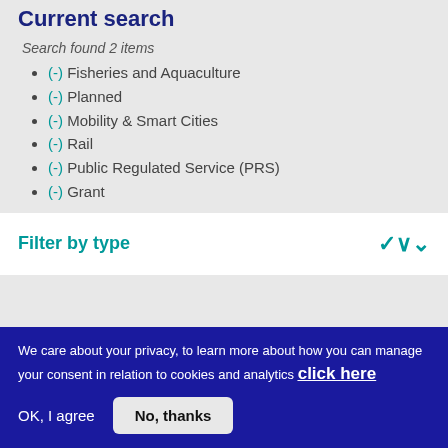Current search
Search found 2 items
(-) Fisheries and Aquaculture
(-) Planned
(-) Mobility & Smart Cities
(-) Rail
(-) Public Regulated Service (PRS)
(-) Grant
Filter by type
We care about your privacy, to learn more about how you can manage your consent in relation to cookies and analytics click here
OK, I agree   No, thanks